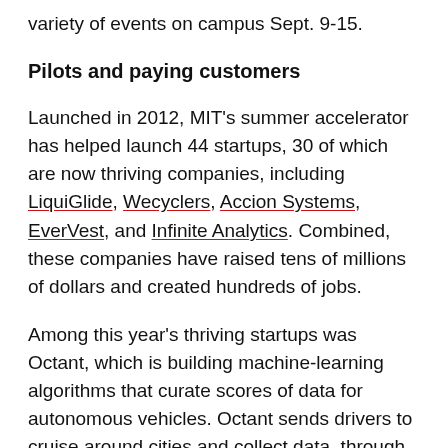variety of events on campus Sept. 9-15.
Pilots and paying customers
Launched in 2012, MIT's summer accelerator has helped launch 44 startups, 30 of which are now thriving companies, including LiquiGlide, Wecyclers, Accion Systems, EverVest, and Infinite Analytics. Combined, these companies have raised tens of millions of dollars and created hundreds of jobs.
Among this year's thriving startups was Octant, which is building machine-learning algorithms that curate scores of data for autonomous vehicles. Octant sends drivers to cruise around cities and collect data, through onboard cameras and sensors, of hundreds of thousands of driving scenarios